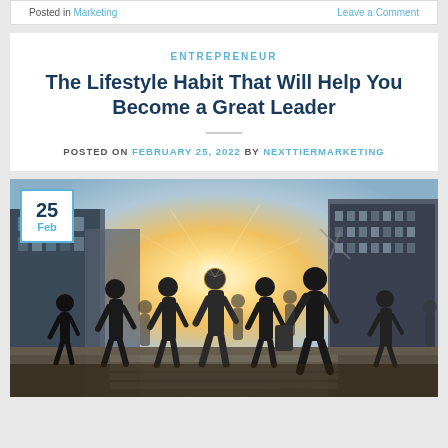Posted in Marketing | Leave a Comment
ENTREPRENEUR
The Lifestyle Habit That Will Help You Become a Great Leader
POSTED ON FEBRUARY 25, 2022 BY NEXTTIERMARKETING
[Figure (photo): Silhouettes of business people walking across a city street crossing with a bright sunburst in the background, flanked by tall modern buildings. A date badge showing '25 Feb' is overlaid in the top-left corner.]